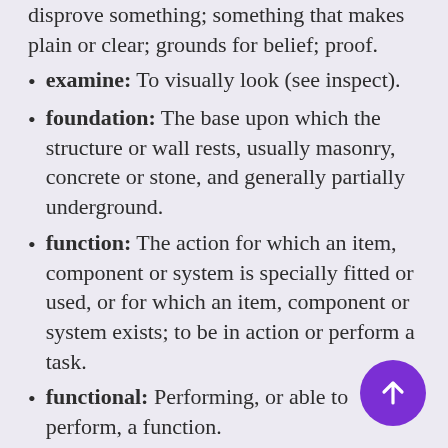disprove something; something that makes plain or clear; grounds for belief; proof.
examine: To visually look (see inspect).
foundation: The base upon which the structure or wall rests, usually masonry, concrete or stone, and generally partially underground.
function: The action for which an item, component or system is specially fitted or used, or for which an item, component or system exists; to be in action or perform a task.
functional: Performing, or able to perform, a function.
functional defect: A lack of or an abnormality in something that is necessary for normal and proper functioning and